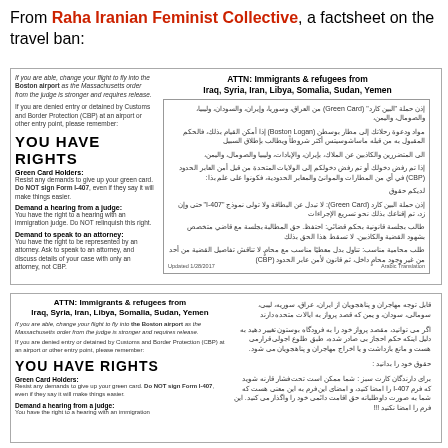From Raha Iranian Feminist Collective, a factsheet on the travel ban:
[Figure (infographic): Factsheet flyer in English and Arabic for immigrants and refugees from Iraq, Syria, Iran, Libya, Somalia, Sudan, Yemen. Contains YOU HAVE RIGHTS text with sections on Green Card Holders, Demand a hearing from a judge, Demand to speak to an attorney.]
[Figure (infographic): Second version of the factsheet flyer in English and Farsi for immigrants and refugees from Iraq, Syria, Iran, Libya, Somalia, Sudan, Yemen. Contains YOU HAVE RIGHTS text with sections on Green Card Holders and Demand a hearing from a judge.]